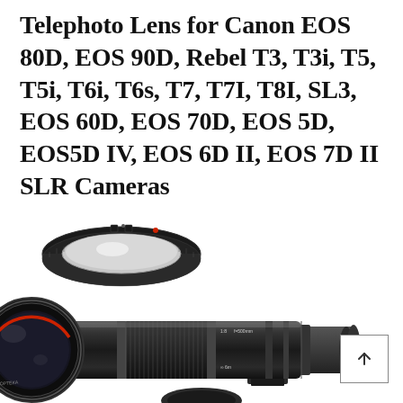Telephoto Lens for Canon EOS 80D, EOS 90D, Rebel T3, T3i, T5, T5i, T6i, T6s, T7, T7I, T8I, SL3, EOS 60D, EOS 70D, EOS 5D, EOS5D IV, EOS 6D II, EOS 7D II SLR Cameras
[Figure (photo): Product photo showing a black telephoto lens (long barrel lens with red stripe near the front element and textured grip) alongside a camera mount adapter ring (black circular ring with red alignment dot). A white-boxed scroll-up button with an upward arrow is visible in the bottom right corner.]